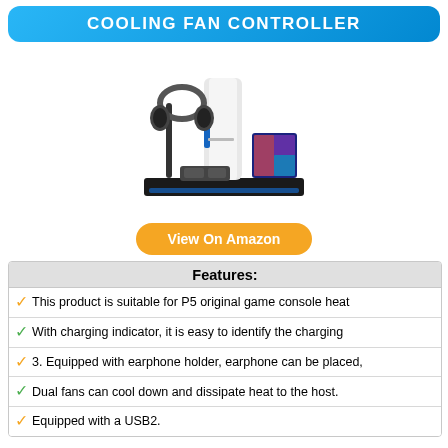COOLING FAN CONTROLLER
[Figure (photo): Product photo of a PS5 cooling fan controller stand with headphone holder, dual fans, and controller charging dock, shown with a PS5 console and game box.]
View On Amazon
| Features: |
| --- |
| ✓ This product is suitable for P5 original game console heat |
| ✓ With charging indicator, it is easy to identify the charging |
| ✓ 3. Equipped with earphone holder, earphone can be placed, |
| ✓ Dual fans can cool down and dissipate heat to the host. |
| ✓ Equipped with a USB2. |